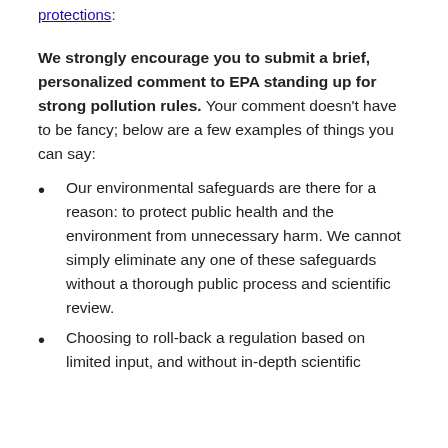protections:
We strongly encourage you to submit a brief, personalized comment to EPA standing up for strong pollution rules. Your comment doesn't have to be fancy; below are a few examples of things you can say:
Our environmental safeguards are there for a reason: to protect public health and the environment from unnecessary harm. We cannot simply eliminate any one of these safeguards without a thorough public process and scientific review.
Choosing to roll-back a regulation based on limited input, and without in-depth scientific